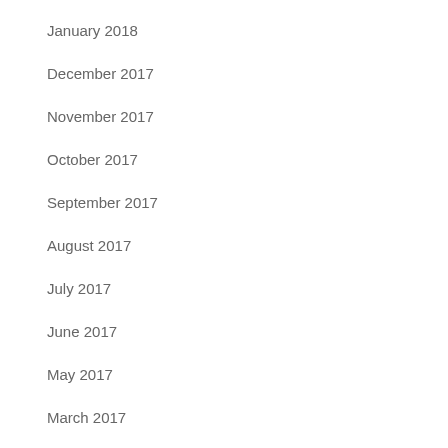January 2018
December 2017
November 2017
October 2017
September 2017
August 2017
July 2017
June 2017
May 2017
March 2017
Categories
Muhammad Babangida
Polo
Sports